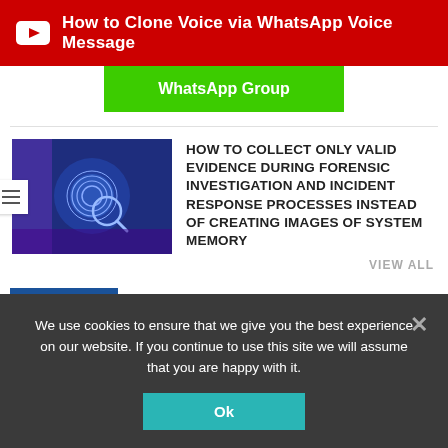[Figure (screenshot): Red YouTube banner with white play button icon and text 'How to Clone Voice via WhatsApp Voice Message']
WhatsApp Group
[Figure (photo): Blue fingerprint scan image with magnifying glass]
HOW TO COLLECT ONLY VALID EVIDENCE DURING FORENSIC INVESTIGATION AND INCIDENT RESPONSE PROCESSES INSTEAD OF CREATING IMAGES OF SYSTEM MEMORY
VIEW ALL
MALWARE
[Figure (photo): Image related to Cuba ransomware article]
CUBA RANSOMWARE NOW TARGETING CRITICAL INFRASTRUCTURE
We use cookies to ensure that we give you the best experience on our website. If you continue to use this site we will assume that you are happy with it.
Ok